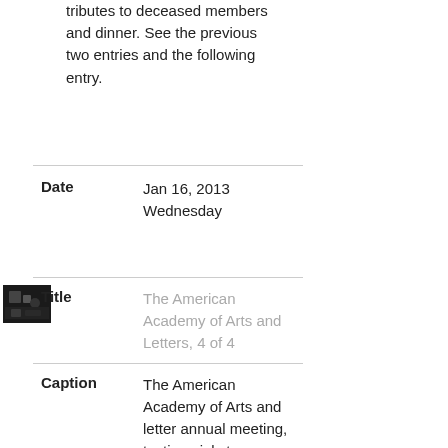tributes to deceased members and dinner. See the previous two entries and the following entry.
| Field | Value |
| --- | --- |
| Date | Jan 16, 2013 Wednesday |
[Figure (photo): Small thumbnail photo of a gathering/meeting event, dark image]
| Field | Value |
| --- | --- |
| Title | The American Academy of Arts and Letters, 4 of 4 |
| Caption | The American Academy of Arts and letter annual meeting, testimonials to... |